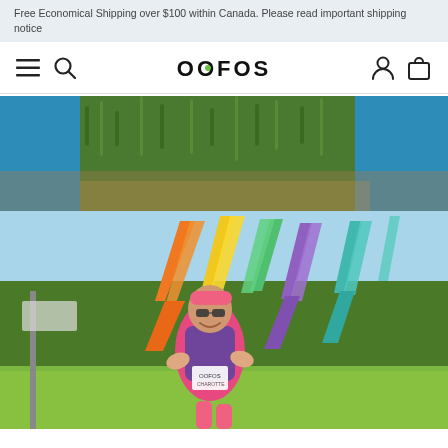Free Economical Shipping over $100 within Canada. Please read important shipping notice
[Figure (logo): OOFOS brand logo with navigation icons: hamburger menu, search icon, OOFOS wordmark, user account icon, and shopping bag icon]
[Figure (photo): Two-part hero image: top portion shows feet/shoes in grass with blue clothing visible; bottom portion shows a female runner at a race finish area wearing a pink headband, sunglasses, pink tank top, and purple hydration vest, with colorful flag banners (orange, yellow, green, purple, teal) in the background and trees behind. Runner has a race bib visible.]